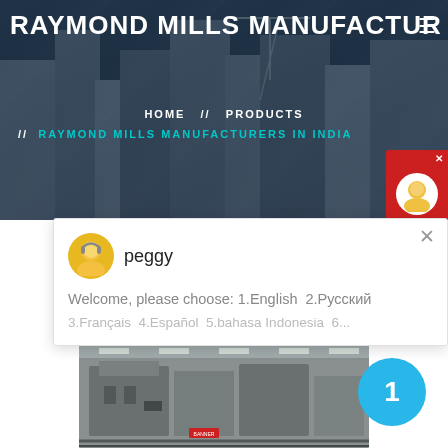RAYMOND MILLS MANUFACTUR
[Figure (screenshot): Website screenshot of Raymond Mills Manufacturers page with dark hero banner showing construction/building background, navigation breadcrumb, chat popup with 'peggy' avatar, blue numbered badge, and factory machinery photo at bottom]
HOME // PRODUCTS
// RAYMOND MILLS MANUFACTURERS IN INDIA
peggy
Welcome, please choose: 1.English  2.Русский
3.Français  4.Español  5.bahasa Indonesia  6...